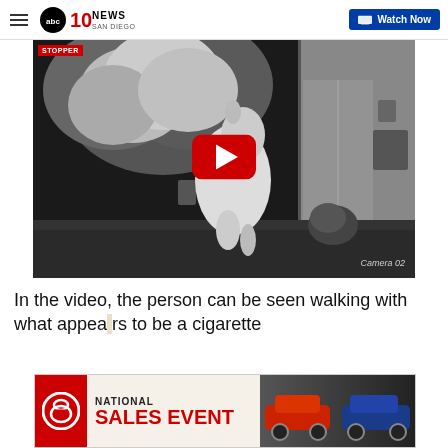ABC 10 News San Diego — Watch Now
[Figure (screenshot): Night vision security camera footage (Camera 02) showing a large animal standing upright near a glass door of a house, with trees and outdoor furniture visible. A red YouTube play button overlay is centered on the image. A red STOPPER watermark appears in the top-left corner.]
In the video, the person can be seen walking with what appears to be a cigarette
[Figure (photo): Toyota National Sales Event advertisement banner showing red text 'NATIONAL SALES EVENT' with Toyota logo on the left and cars on the right against a beige/dark background.]